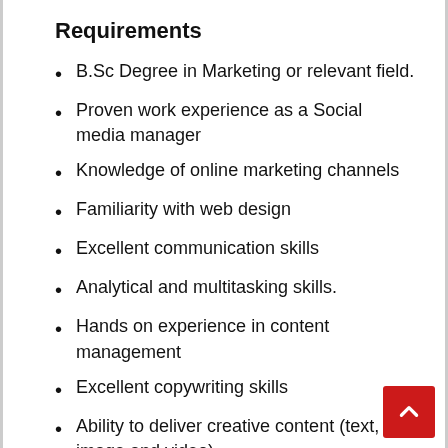Requirements
B.Sc Degree in Marketing or relevant field.
Proven work experience as a Social media manager
Knowledge of online marketing channels
Familiarity with web design
Excellent communication skills
Analytical and multitasking skills.
Hands on experience in content management
Excellent copywriting skills
Ability to deliver creative content (text, image and video)
Solid knowledge of SEO, keyword research and Google Analytics